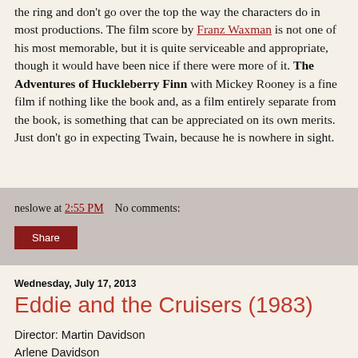the ring and don't go over the top the way the characters do in most productions. The film score by Franz Waxman is not one of his most memorable, but it is quite serviceable and appropriate, though it would have been nice if there were more of it. The Adventures of Huckleberry Finn with Mickey Rooney is a fine film if nothing like the book and, as a film entirely separate from the book, is something that can be appreciated on its own merits. Just don't go in expecting Twain, because he is nowhere in sight.
neslowe at 2:55 PM    No comments:
Share
Wednesday, July 17, 2013
Eddie and the Cruisers (1983)
Director: Martin Davidson    Writers: Martin & Arlene Davidson
Music: John Cafferty    Cinematography: Fred Murphy